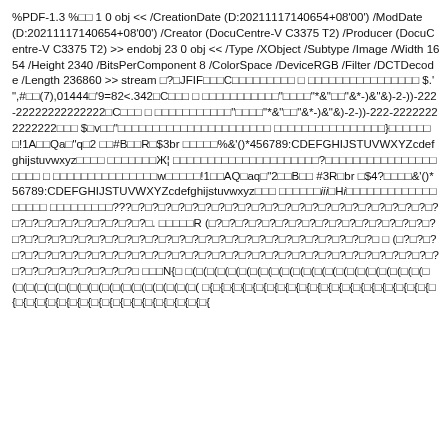%PDF-1.3 %□□ 1 0 obj << /CreationDate (D:20211117140654+08'00') /ModDate (D:20211117140654+08'00') /Creator (DocuCentre-V C3375 T2) /Producer (DocuCentre-V C3375 T2) >> endobj 23 0 obj << /Type /XObject /Subtype /Image /Width 1654 /Height 2340 /BitsPerComponent 8 /ColorSpace /DeviceRGB /Filter /DCTDecode /Length 236860 >> stream □?□JFIF□□□C□□□□□□□□□ □ □□□□□□□□□□□□□□□□ $.' ",#□□(7),01444□'9=82<.342□C□□□ □ □□□□□□□□□□□"□□□□"*&"□□"&*-)&"&)-2-))-222-22222222222222□C□□□ □ □□□□□□□□□□□"□□□□"*&"□□"&*-)&"&)-2-))-222-22222222222222□□□ $□v□□"□□□□□□□□□□□□□□□□□□□□□□ □□□□□□□□□□□□□□□□}□□□□□□□!1A□□Qa□"q□2 □□#B□□R□$3br □□□□□%&'()*456789:CDEFGHIJSTUVWXYZcdefghijstuvwxyz□□□□ □□□□□□□Ж¦ □□□□□□□□□□□□□□□□□□□□□?□□□□□□□□□□□□□□□□□□□□□□□ □ □□□□□□□□□□□□□□□w□□□□□!1□□AQ□aq□"2□□B□□ #3R□br □$4?□□□□&'()*56789:CDEFGHIJSTUVWXYZcdefghijstuvwxyz□□□ □□□□□□iii□Hi□□□□□□□□□□□□□□□□□□ □□□□□□□□□???□?□?□?□?□?□?□?□?□?□?□?□?□?□?□?□?□?□?□?□?□?□?□?□?□?□?□?□?□?□?□?□?□. □□□□□R (□?□?□?□?□?□?□?□?□?□?□?□?□?□?□?□?□?□?□?□?□?□?□?□?□?□?□?□?□?□?□?□?□?□?□?□?□?□?□?□?□?□?□?□?□ □ (□?□?□?□?□?□?□?□?□?□?□?□?□?□?□?□?□?□?□?□?□?□?□?□?□?□?□?□?□?□?□?□?□?□?□?□?□?□?□?□?□?□?□?□?□ □□□N{□ □(□(□(□(□(□(□(□(□(□(□(□(□(□(□(□(□(□(□(□(□(□(□(□(□(□(□(□(□(□(□(□(□(□(□(□(□(□(□(□( □{□{□{□{□{□{□{□{□{□{□{□{□{□{□{□{□{□{□{□{□{□{□{□{□{□{□{□{□{□{□{□{□{□{□{□{□{□{□{□{